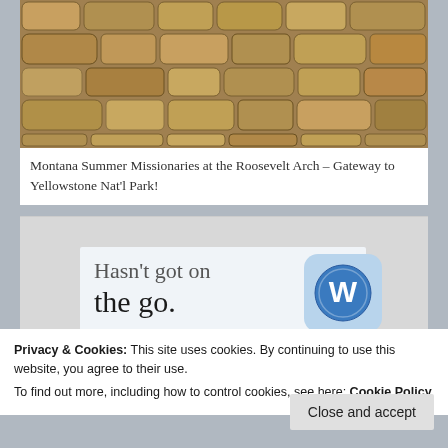[Figure (photo): Stone wall texture — photo of missionaries at the Roosevelt Arch, Gateway to Yellowstone National Park. Top portion of image visible showing a large stone/rock wall structure.]
Montana Summer Missionaries at the Roosevelt Arch – Gateway to Yellowstone Nat'l Park!
[Figure (screenshot): WordPress mobile app advertisement card showing partial text 'Hasn't got on the go.' with 'GET THE APP' call to action and WordPress logo.]
Privacy & Cookies: This site uses cookies. By continuing to use this website, you agree to their use.
To find out more, including how to control cookies, see here: Cookie Policy
Close and accept